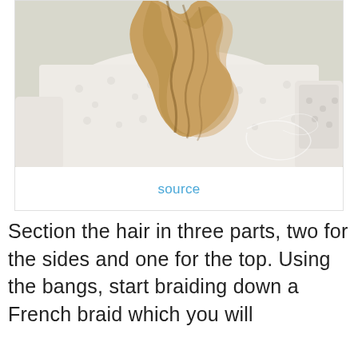[Figure (photo): Back view of a woman with long blonde braided/wavy hair, wearing a white lace dress]
source
Section the hair in three parts, two for the sides and one for the top. Using the bangs, start braiding down a French braid which you will